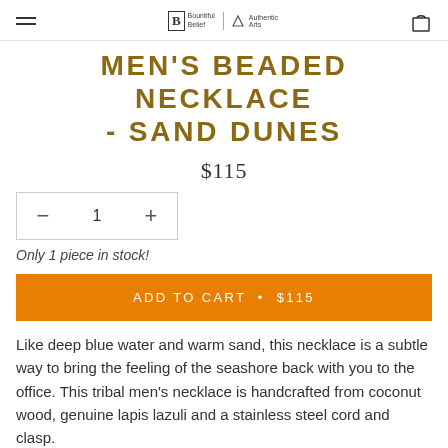Bountiful Belief / Authentic Arts (logo) | Cart icon
MEN'S BEADED NECKLACE - SAND DUNES
$115
— 1 +
Only 1 piece in stock!
ADD TO CART • $115
Like deep blue water and warm sand, this necklace is a subtle way to bring the feeling of the seashore back with you to the office. This tribal men's necklace is handcrafted from coconut wood, genuine lapis lazuli and a stainless steel cord and clasp.